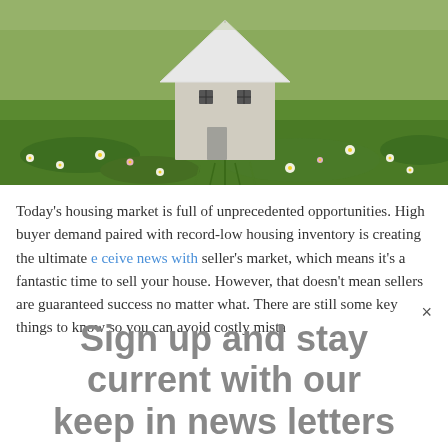[Figure (photo): A miniature white model house sitting among green grass and white daisy flowers outdoors]
Today’s housing market is full of unprecedented opportunities. High buyer demand paired with record-low housing inventory is creating the ultimate seller’s market, which means it’s a fantastic time to sell your house. However, that doesn’t mean sellers are guaranteed success no matter what. There are still some key things to know so you can avoid costly mistakes in moving letters
Sign up and stay current with our keep in news letters